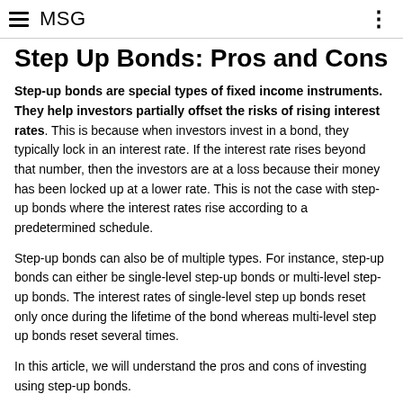MSG
Step Up Bonds: Pros and Cons
Step-up bonds are special types of fixed income instruments. They help investors partially offset the risks of rising interest rates. This is because when investors invest in a bond, they typically lock in an interest rate. If the interest rate rises beyond that number, then the investors are at a loss because their money has been locked up at a lower rate. This is not the case with step-up bonds where the interest rates rise according to a predetermined schedule.
Step-up bonds can also be of multiple types. For instance, step-up bonds can either be single-level step-up bonds or multi-level step-up bonds. The interest rates of single-level step up bonds reset only once during the lifetime of the bond whereas multi-level step up bonds reset several times.
In this article, we will understand the pros and cons of investing using step-up bonds.
Pros of Step-Up Bonds